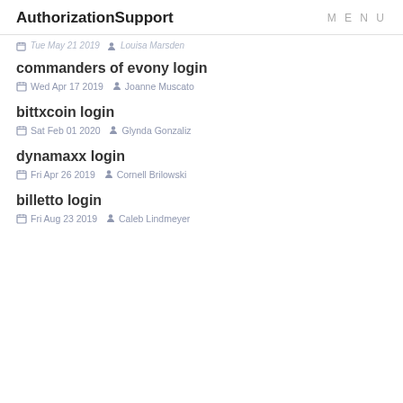AuthorizationSupport   MENU
Tue May 21 2019  Louisa Marsden
commanders of evony login
Wed Apr 17 2019  Joanne Muscato
bittxcoin login
Sat Feb 01 2020  Glynda Gonzaliz
dynamaxx login
Fri Apr 26 2019  Cornell Brilowski
billetto login
Fri Aug 23 2019  Caleb Lindmeyer